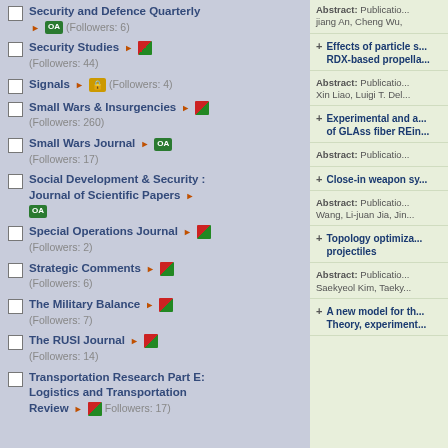Security and Defence Quarterly ▶ OA (Followers: 6)
Security Studies ▶ [red badge] (Followers: 44)
Signals ▶ [lock badge] (Followers: 4)
Small Wars & Insurgencies ▶ [red badge] (Followers: 260)
Small Wars Journal ▶ OA (Followers: 17)
Social Development & Security : Journal of Scientific Papers ▶ OA
Special Operations Journal ▶ [red badge] (Followers: 2)
Strategic Comments ▶ [red badge] (Followers: 6)
The Military Balance ▶ [red badge] (Followers: 7)
The RUSI Journal ▶ [red badge] (Followers: 14)
Transportation Research Part E: Logistics and Transportation Review ▶ [red badge] (Followers: 17)
Abstract: Publication... jiang An, Cheng Wu,
Effects of particle s... RDX-based propella...
Abstract: Publication... Xin Liao, Luigi T. Del...
Experimental and a... of GLAss fiber REin...
Abstract: Publicatio...
Close-in weapon sy...
Abstract: Publication... Wang, Li-juan Jia, Jin...
Topology optimiza... projectiles
Abstract: Publication... Saekyeol Kim, Taeky...
A new model for th... Theory, experiment...